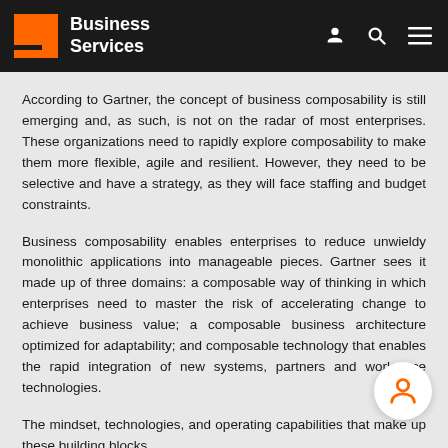Business Services
According to Gartner, the concept of business composability is still emerging and, as such, is not on the radar of most enterprises. These organizations need to rapidly explore composability to make them more flexible, agile and resilient. However, they need to be selective and have a strategy, as they will face staffing and budget constraints.
Business composability enables enterprises to reduce unwieldy monolithic applications into manageable pieces. Gartner sees it made up of three domains: a composable way of thinking in which enterprises need to master the risk of accelerating change to achieve business value; a composable business architecture optimized for adaptability; and composable technology that enables the rapid integration of new systems, partners and workplace technologies.
The mindset, technologies, and operating capabilities that make up these building blocks